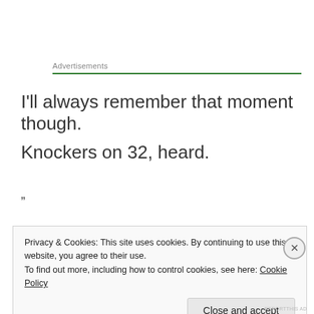Advertisements
I'll always remember that moment though.
Knockers on 32, heard.
”
Privacy & Cookies: This site uses cookies. By continuing to use this website, you agree to their use.
To find out more, including how to control cookies, see here: Cookie Policy
Close and accept
REPORTTHIS AD